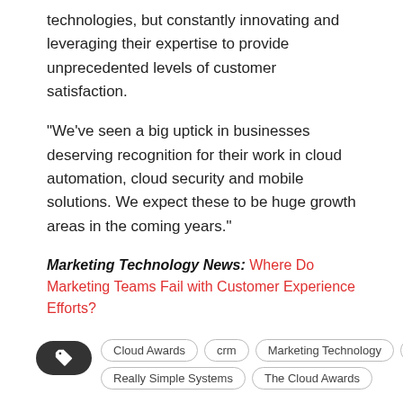technologies, but constantly innovating and leveraging their expertise to provide unprecedented levels of customer satisfaction.
“We’ve seen a big uptick in businesses deserving recognition for their work in cloud automation, cloud security and mobile solutions. We expect these to be huge growth areas in the coming years.”
Marketing Technology News: Where Do Marketing Teams Fail with Customer Experience Efforts?
Cloud Awards  crm  Marketing Technology  News  Really Simple Systems  The Cloud Awards
[Figure (infographic): Share buttons: Share icon, Facebook, Twitter, LinkedIn. Tag pills: Cloud Awards, crm, Marketing Technology, News, Really Simple Systems, The Cloud Awards.]